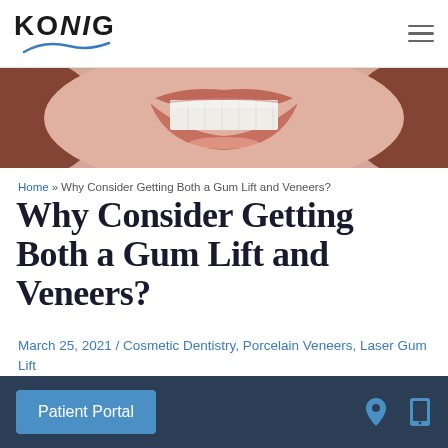KONIG [logo with dental practice branding]
[Figure (photo): Close-up photo of a person smiling showing white teeth with lips and hair visible on sides]
Home » Why Consider Getting Both a Gum Lift and Veneers?
Why Consider Getting Both a Gum Lift and Veneers?
March 25, 2021 / Cosmetic Dentistry, Porcelain Veneers, Laser Gum Lift
Porcelain veneers and gum lift procedures are
Patient Portal | location icon | phone icon